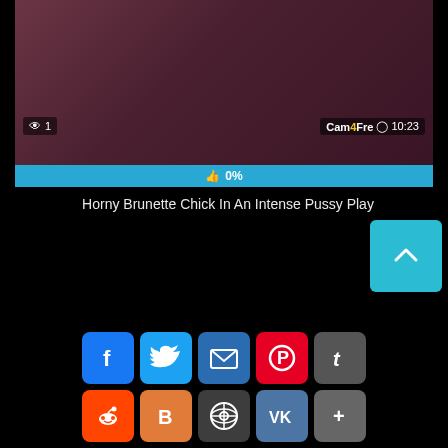[Figure (screenshot): Video thumbnail showing a brunette woman in a red top, with view count overlay showing eye icon and '1', brand overlay 'Cam4Fre' with clock icon and '10:23', and a blue progress bar showing thumbs up icon and '0%']
Horny Brunette Chick In An Intense Pussy Play
[Figure (infographic): Social sharing buttons: Facebook, Twitter, Email, Pinterest, Tumblr (top row); Reddit, Blogger, WordPress, VK, More (bottom row); and a cyan scroll-to-top button with up arrow]